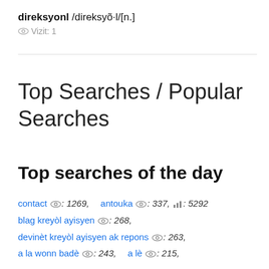direksyonl /direksyõ·l/[n.]
👁 Vizit: 1
Top Searches / Popular Searches
Top searches of the day
contact 👁: 1269,  antouka 👁: 337, 📊: 5292  blag kreyòl ayisyen 👁: 268,  devinèt kreyòl ayisyen ak repons 👁: 263,  a la wonn badè 👁: 243,  a lè 👁: 215,